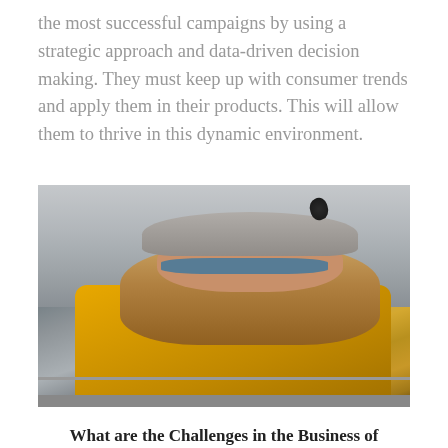the most successful campaigns by using a strategic approach and data-driven decision making. They must keep up with consumer trends and apply them in their products. This will allow them to thrive in this dynamic environment.
[Figure (photo): A woman wearing a grey knit beanie hat with a black pom pom and blue aviator sunglasses, dressed in a yellow rain jacket and dark top, standing outdoors against a misty grey mountain or volcanic background.]
What are the Challenges in the Business of